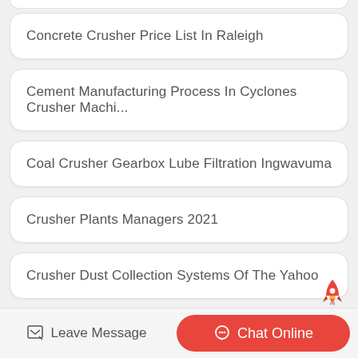Concrete Crusher Price List In Raleigh
Cement Manufacturing Process In Cyclones Crusher Machi...
Coal Crusher Gearbox Lube Filtration Ingwavuma
Crusher Plants Managers 2021
Crusher Dust Collection Systems Of The Yahoo
Wood Crusher Machine Price In Pangkham
Aggregates Crusher Plants For Sale
Leave Message  Chat Online